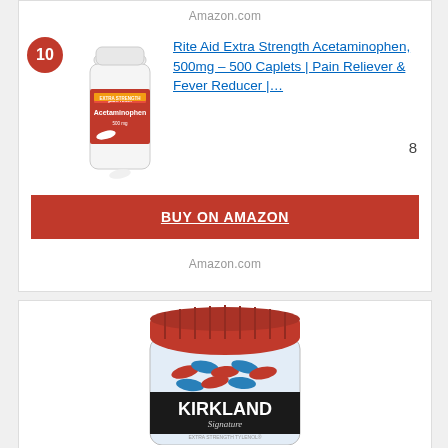Amazon.com
10
[Figure (photo): Rite Aid Extra Strength Acetaminophen 500mg bottle, white with red label]
Rite Aid Extra Strength Acetaminophen, 500mg – 500 Caplets | Pain Reliever & Fever Reducer |…
8
BUY ON AMAZON
Amazon.com
[Figure (photo): Kirkland Signature medication bottle with red lid, containing red and blue capsules]